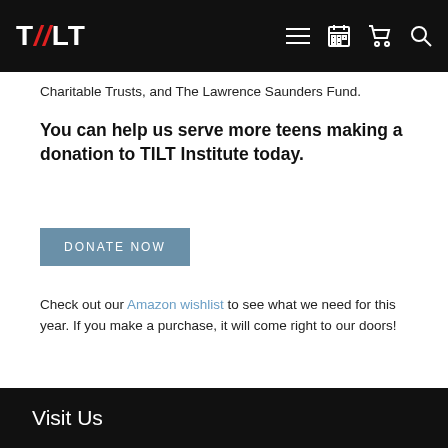TILT
Charitable Trusts, and The Lawrence Saunders Fund.
You can help us serve more teens making a donation to TILT Institute today.
DONATE NOW
Check out our Amazon wishlist to see what we need for this year. If you make a purchase, it will come right to our doors!
Visit Us